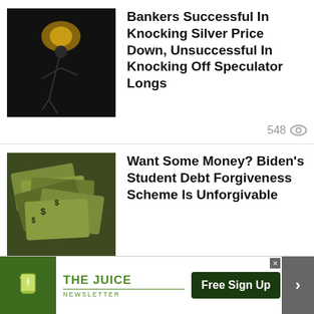[Figure (photo): Dark image with spotlight and silhouette figure]
Bankers Successful In Knocking Silver Price Down, Unsuccessful In Knocking Off Speculator Longs
548 views
[Figure (photo): Pile of US dollar bills]
Want Some Money? Biden's Student Debt Forgiveness Scheme Is Unforgivable
381 views
[Figure (photo): Sunset with power lines silhouette against orange sky]
The Grid Is Collapsing! Thousands Of Businesses Close, World Hit By Planned Outages And
[Figure (other): The Juice Newsletter advertisement banner with Free Sign Up button]